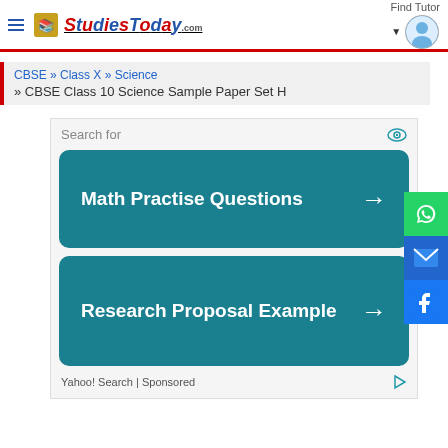StudiesToday.com — Find Tutor
CBSE » Class X » Science » CBSE Class 10 Science Sample Paper Set H
[Figure (screenshot): Advertisement banner with two teal buttons: 'Math Practise Questions →' and 'Research Proposal Example →'. Yahoo! Search | Sponsored label at bottom.]